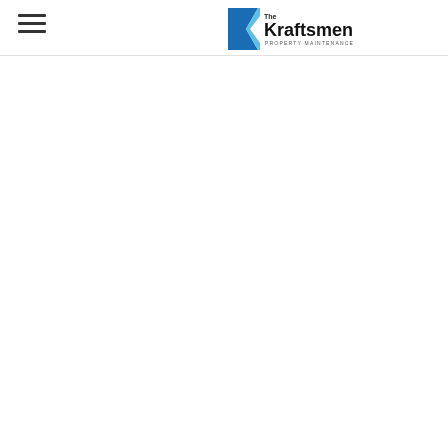The Kraftsmen Property Maintenance — navigation header with hamburger menu and logo